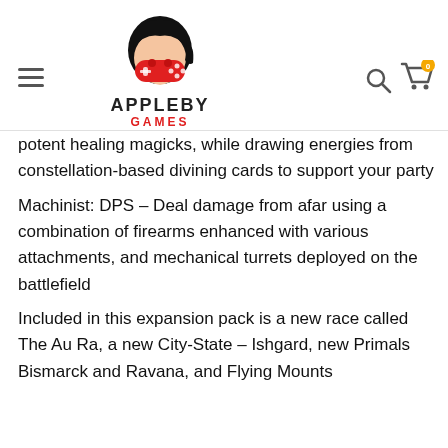Appleby Games
potent healing magicks, while drawing energies from constellation-based divining cards to support your party
Machinist: DPS – Deal damage from afar using a combination of firearms enhanced with various attachments, and mechanical turrets deployed on the battlefield
Included in this expansion pack is a new race called The Au Ra, a new City-State – Ishgard, new Primals Bismarck and Ravana, and Flying Mounts